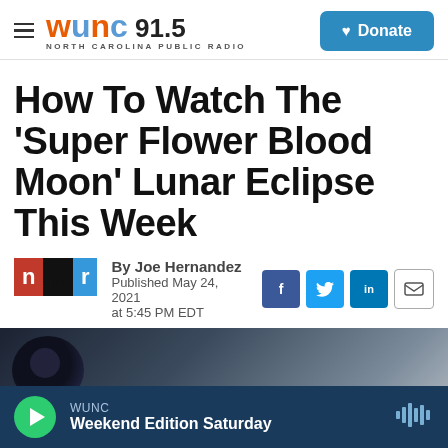WUNC 91.5 NORTH CAROLINA PUBLIC RADIO — Donate
How To Watch The 'Super Flower Blood Moon' Lunar Eclipse This Week
By Joe Hernandez
Published May 24, 2021 at 5:45 PM EDT
[Figure (photo): Photo of the Super Flower Blood Moon lunar eclipse — dark moon image against gray sky background]
WUNC — Weekend Edition Saturday (audio player bar)